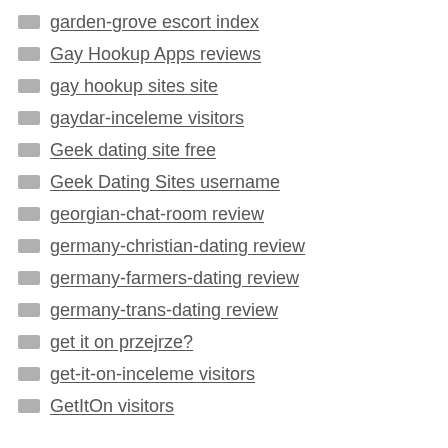garden-grove escort index
Gay Hookup Apps reviews
gay hookup sites site
gaydar-inceleme visitors
Geek dating site free
Geek Dating Sites username
georgian-chat-room review
germany-christian-dating review
germany-farmers-dating review
germany-trans-dating review
get it on przejrze?
get-it-on-inceleme visitors
GetItOn visitors